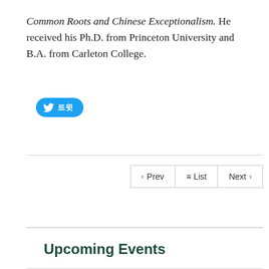Common Roots and Chinese Exceptionalism. He received his Ph.D. from Princeton University and B.A. from Carleton College.
[Figure (other): Twitter share button with bird icon and Korean text]
< Prev  ≡ List  Next >
Upcoming Events